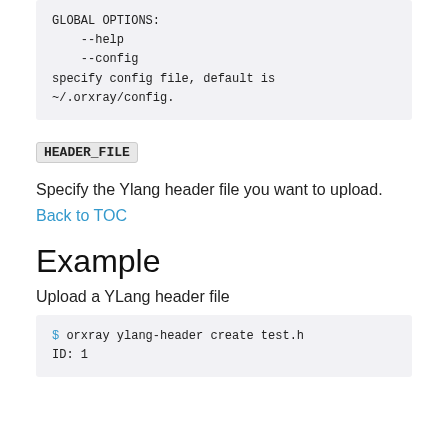GLOBAL OPTIONS:
   --help
   --config
specify config file, default is
~/.orxray/config.
HEADER_FILE
Specify the Ylang header file you want to upload.
Back to TOC
Example
Upload a YLang header file
$ orxray ylang-header create test.h
ID: 1